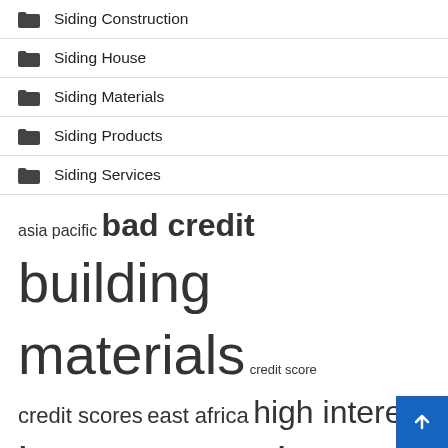Siding Construction
Siding House
Siding Materials
Siding Products
Siding Services
asia pacific  bad credit  building materials  credit score  credit scores  east africa  high interest  interest rates  long term  market report  market research